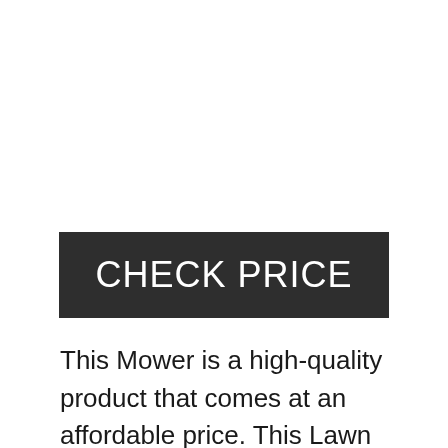[Figure (other): Empty white space / product image area (image not visible)]
CHECK PRICE
This Mower is a high-quality product that comes at an affordable price. This Lawn Mower has a 159cc engine that provides enough power for mowing a small lawn efficiently. The mower starts with one pull